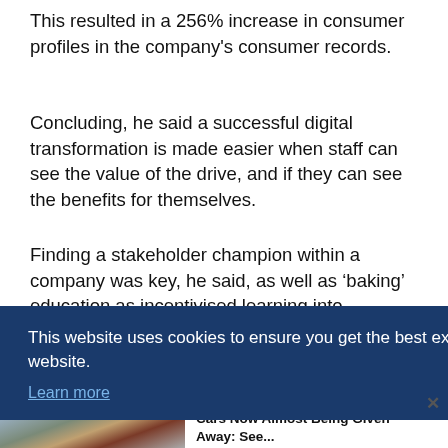This resulted in a 256% increase in consumer profiles in the company's consumer records.
Concluding, he said a successful digital transformation is made easier when staff can see the value of the drive, and if they can see the benefits for themselves.
Finding a stakeholder champion within a company was key, he said, as well as ‘baking’ education as incentivised learning into company culture: “Resistance to change is underpinned by a lack of knowledge,” he
This website uses cookies to ensure you get the best experience on our website. Learn more
[Figure (photo): Photo of cars in a parking lot/dealership lot, with many SUVs visible]
Ashburn: Unsold Never-Driven Cars Now Almost Being Given Away: See... SUV Deals | Search Ads | Sponsored